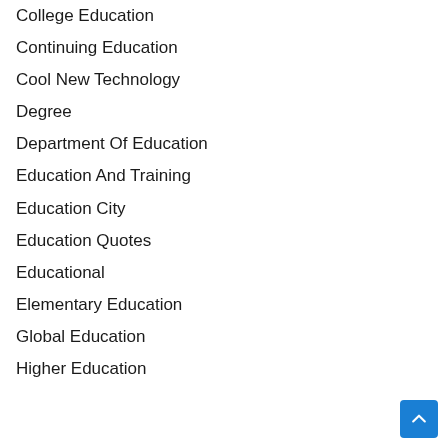College Education
Continuing Education
Cool New Technology
Degree
Department Of Education
Education And Training
Education City
Education Quotes
Educational
Elementary Education
Global Education
Higher Education